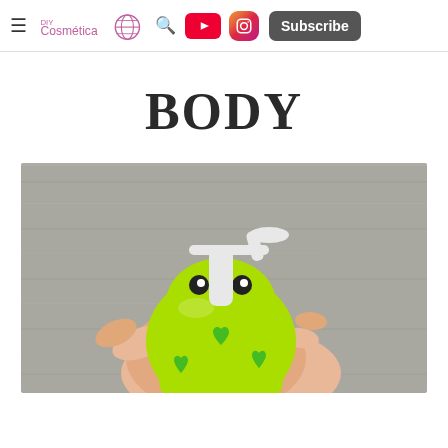DIY Cosmética — navigation bar with logo, search, YouTube, Instagram, Subscribe
BODY
[Figure (photo): A hand holding a green frog-shaped pump bottle (soap/lotion dispenser) with a white pump top and green heart decorations, against a grey concrete background.]